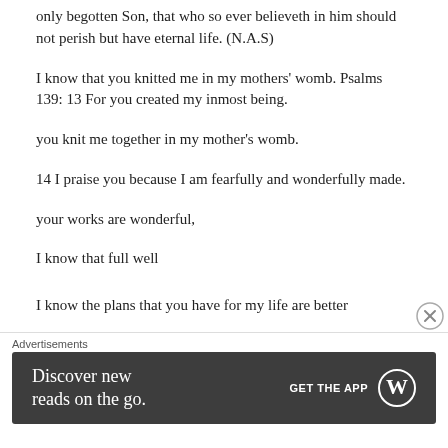only begotten Son, that who so ever believeth in him should not perish but have eternal life. (N.A.S)
I know that you knitted me in my mothers' womb. Psalms 139: 13 For you created my inmost being.
you knit me together in my mother's womb.
14 I praise you because I am fearfully and wonderfully made.
your works are wonderful,
I know that full well
I know the plans that you have for my life are better...
[Figure (screenshot): Advertisements banner: 'Discover new reads on the go. GET THE APP' with WordPress logo on dark background]